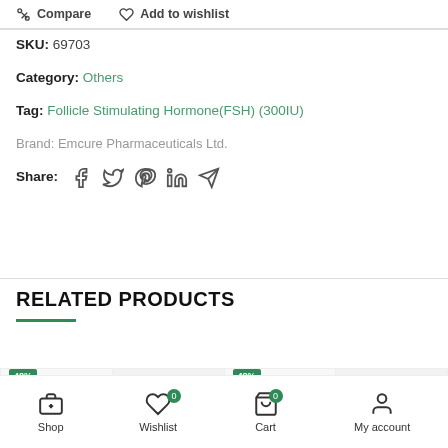Compare   Add to wishlist
SKU: 69703
Category: Others
Tag: Follicle Stimulating Hormone(FSH) (300IU)
Brand: Emcure Pharmaceuticals Ltd.
Share:
RELATED PRODUCTS
Shop   Wishlist 0   Cart 0   My account